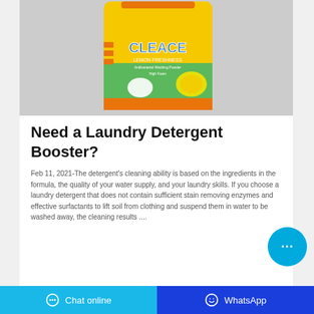[Figure (photo): A yellow bag of CLEACE Lemon Freshness antibacterial washing powder on a grey background]
Need a Laundry Detergent Booster?
Feb 11, 2021-The detergent's cleaning ability is based on the ingredients in the formula, the quality of your water supply, and your laundry skills. If you choose a laundry detergent that does not contain sufficient stain removing enzymes and effective surfactants to lift soil from clothing and suspend them in water to be washed away, the cleaning results ....